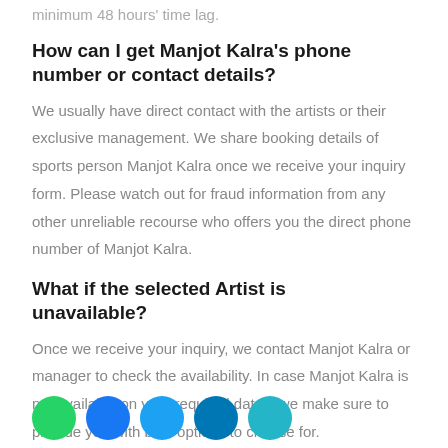minimum 48 hours' time lag.
How can I get Manjot Kalra's phone number or contact details?
We usually have direct contact with the artists or their exclusive management. We share booking details of sports person Manjot Kalra once we receive your inquiry form. Please watch out for fraud information from any other unreliable recourse who offers you the direct phone number of Manjot Kalra.
What if the selected Artist is unavailable?
Once we receive your inquiry, we contact Manjot Kalra or manager to check the availability. In case Manjot Kalra is not available on your required dates, we make sure to provide you with best options to choose for.
[Figure (other): Row of social media share buttons: WhatsApp (green), Facebook (blue), Twitter (light blue), LinkedIn (dark blue), and another teal button]